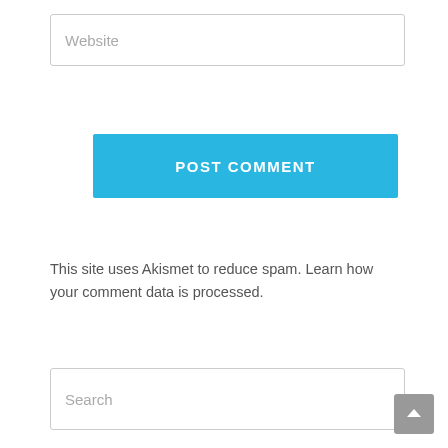Website
POST COMMENT
This site uses Akismet to reduce spam. Learn how your comment data is processed.
Search
Recent Posts
Franco de Camargo
NAO PARA!! GFT Rolando Saenz Continuing the International Legacy